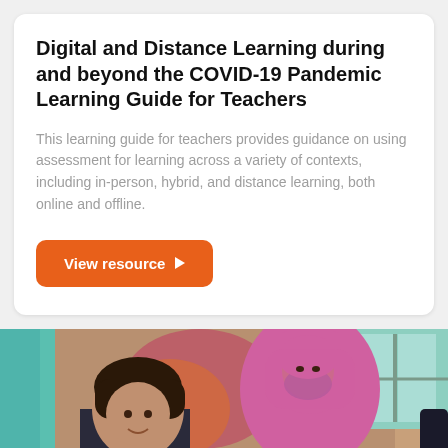Digital and Distance Learning during and beyond the COVID-19 Pandemic Learning Guide for Teachers
This learning guide for teachers provides guidance on using assessment for learning across a variety of contexts, including in-person, hybrid, and distance learning, both online and offline.
View resource
[Figure (photo): A young child and a woman wearing a pink hijab and patterned face mask sitting together, photographed indoors with colorful background elements.]